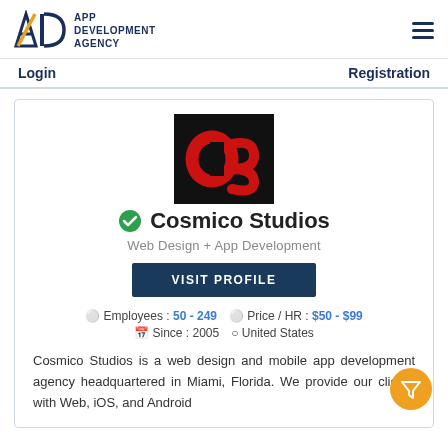APP DEVELOPMENT AGENCY
Login    Registration
[Figure (logo): Cosmico Studios company logo: black background with red 'CS' letters]
Cosmico Studios
Web Design + App Development
VISIT PROFILE
Employees: 50 - 249   Price / HR: $50 - $99   Since: 2005   United States
Cosmico Studios is a web design and mobile app development agency headquartered in Miami, Florida. We provide our clients with Web, iOS, and Android